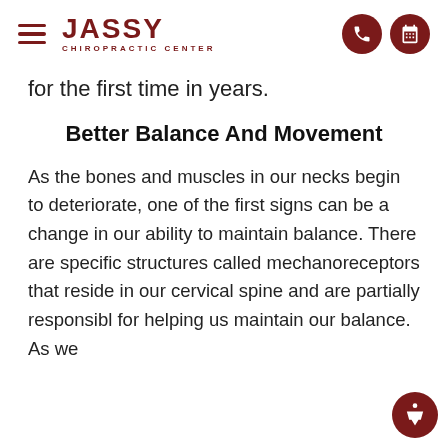JASSY CHIROPRACTIC CENTER
for the first time in years.
Better Balance And Movement
As the bones and muscles in our necks begin to deteriorate, one of the first signs can be a change in our ability to maintain balance. There are specific structures called mechanoreceptors that reside in our cervical spine and are partially responsible for helping us maintain our balance. As we